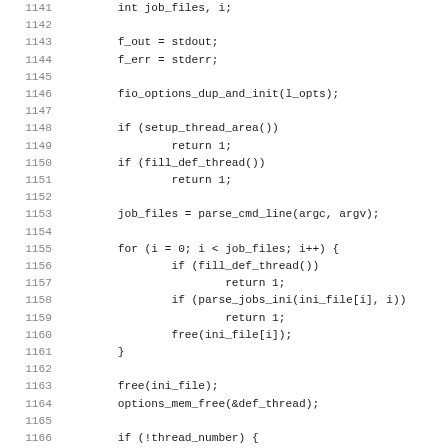[Figure (other): Source code listing in C, lines 1141-1172, showing int job_files variable declaration, stdout/stderr assignment, fio_options_dup_and_init call, setup_thread_area and fill_def_thread checks, parse_cmd_line call, for loop iterating job_files with fill_def_thread, parse_jobs_ini and free calls, then free(ini_file), options_mem_free, and if(!thread_number) block with dump_cmdline check, log_err, usage and return statements.]